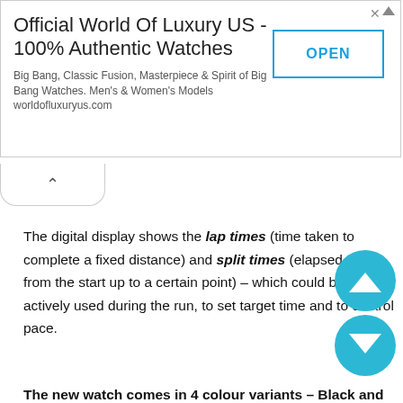[Figure (other): Advertisement banner for World Of Luxury US watches. Shows headline 'Official World Of Luxury US - 100% Authentic Watches', subtitle 'Big Bang, Classic Fusion, Masterpiece & Spirit of Big Bang Watches. Men's & Women's Models worldofluxuryus.com', and an OPEN button.]
The digital display shows the lap times (time taken to complete a fixed distance) and split times (elapsed time from the start up to a certain point) – which could be actively used during the run, to set target time and to control pace.
The new watch comes in 4 colour variants – Black and white (BGA-240-7A and BGA-240-1A1), Black and green (BGA-240-1A2), bright Pink (BGA-240-4A)- and is available at a price of Rs. Customers can get the new BABY-G BGA-240 at their nearest Casio showrooms, leading modern retail stores and leading onli